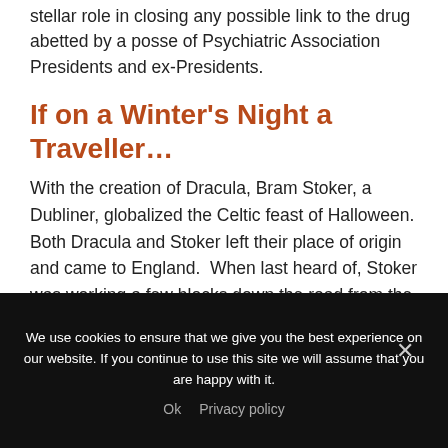stellar role in closing any possible link to the drug abetted by a posse of Psychiatric Association Presidents and ex-Presidents.
If on a Winter's Night a Traveller…
With the creation of Dracula, Bram Stoker, a Dubliner, globalized the Celtic feast of Halloween. Both Dracula and Stoker left their place of origin and came to England.  When last heard of, Stoker was working a few blocks down the road from the BMJ office…
To be continued…
We use cookies to ensure that we give you the best experience on our website. If you continue to use this site we will assume that you are happy with it.
Ok   Privacy policy